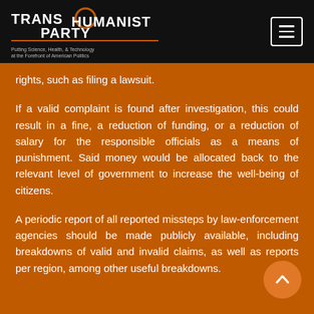TRANSHUMANIST PARTY — Putting Science, Health, & Technology at the Forefront of American Politics
rights, such as filing a lawsuit.
If a valid complaint is found after investigation, this could result in a fine, a reduction of funding, or a reduction of salary for the responsible officials as a means of punishment. Said money would be allocated back to the relevant level of government to increase the well-being of citizens.
A periodic report of all reported missteps by law-enforcement agencies should be made publicly available, including breakdowns of valid and invalid claims, as well as reports per region, among other useful breakdowns.